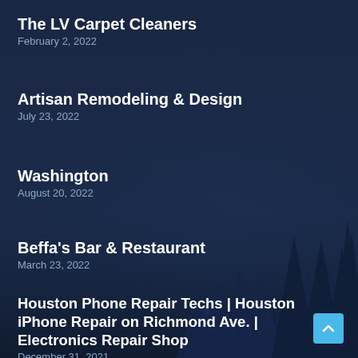The LV Carpet Cleaners
February 2, 2022
Artisan Remodeling & Design
July 23, 2022
Washington
August 20, 2022
Beffa's Bar & Restaurant
March 23, 2022
Houston Phone Repair Techs | Houston iPhone Repair on Richmond Ave. | Electronics Repair Shop
December 31, 2021